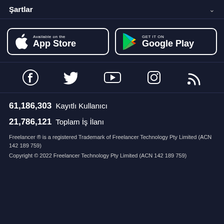Şartlar
[Figure (logo): App Store download button with Apple logo]
[Figure (logo): Google Play download button with Play logo]
[Figure (infographic): Social media icons: Facebook, Twitter, YouTube, Instagram, RSS]
61,186,303  Kayıtlı Kullanıcı
21,786,121  Toplam İş İlanı
Freelancer ® is a registered Trademark of Freelancer Technology Pty Limited (ACN 142 189 759)
Copyright © 2022 Freelancer Technology Pty Limited (ACN 142 189 759)